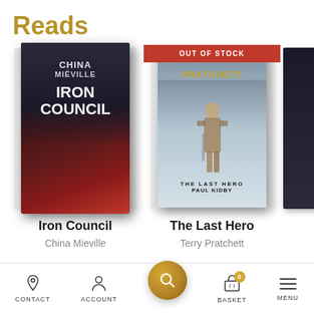Reads
[Figure (photo): Book cover of Iron Council by China Mieville - dark red/black cover with title text]
Iron Council
China Mieville
[Figure (photo): Book cover of The Last Hero by Terry Pratchett illustrated by Paul Kidby - fantasy warrior scene with OUT OF STOCK badge]
The Last Hero
Terry Pratchett
CONTACT  ACCOUNT  [search]  BASKET  MENU